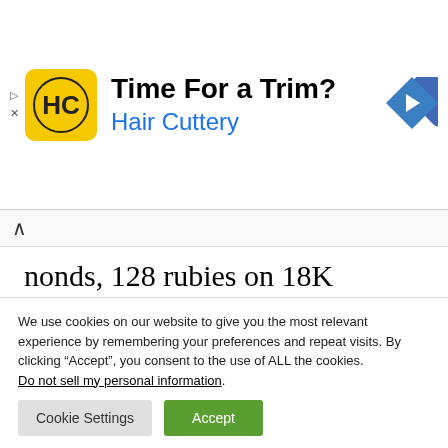[Figure (other): Hair Cuttery advertisement banner with logo (HC on yellow background), text 'Time For a Trim? Hair Cuttery' and a blue navigation arrow icon]
nonds, 128 rubies on 18K engraved old, and is only offered with 1 Terabyte for obvious reason. Only 99 copies of the Monsterphone are in circulation and just 18 copies of the Terradiamond are available
We use cookies on our website to give you the most relevant experience by remembering your preferences and repeat visits. By clicking “Accept”, you consent to the use of ALL the cookies. Do not sell my personal information.